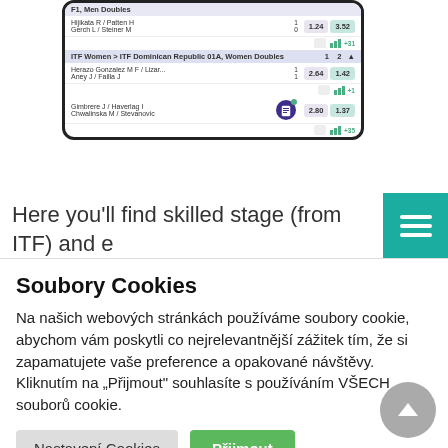[Figure (screenshot): Mobile app screenshot showing tennis betting odds. Rows include: F1 Men Doubles header; Hijikata R / Patten H vs Gerch L / Steiner M with scores 1 and 0, odds 1.24 and 3.52; ITF Women > ITF Dominican Republic 01A Women Doubles header with scores 1 and 2; Herazo Gonzalez M F / Lizar... vs Aney J / Failla J with scores 1 and 1, odds 2.64 and 1.42 (+1); Gimbrere J / Haverlag I vs Chwalinska M / Stevanovic with odds 2.80 and 1.37 (+35), clipboard icon with green dot.]
Here you’ll find skilled stage (from ITF) and e
[Figure (screenshot): Teal/green square button with three white horizontal lines (hamburger menu icon)]
Soubory Cookies
Na našich webových stránkách používáme soubory cookie, abychom vám poskytli co nejrelevantnější zážitek tím, že si zapamatujete vaše preference a opakované návštěvy. Kliknutím na „Prijmout“ souhlasíte s používáním VŠECH souborů cookie.
Nastavení Cookies
Přijmout